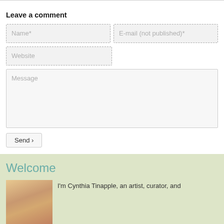Leave a comment
[Figure (screenshot): Web form with fields: Name*, E-mail (not published)*, Website, Message textarea, and Send button]
Welcome
[Figure (photo): Portrait photo of Cynthia Tinapple, a woman with blonde hair]
I'm Cynthia Tinapple, an artist, curator, and